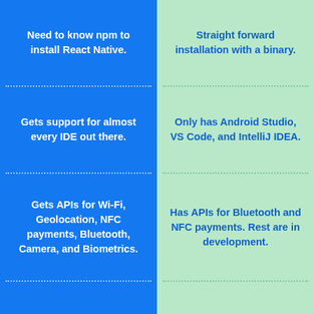Need to know npm to install React Native.
Straight forward installation with a binary.
Gets support for almost every IDE out there.
Only has Android Studio, VS Code, and IntelliJ IDEA.
Gets APIs for Wi-Fi, Geolocation, NFC payments, Bluetooth, Camera, and Biometrics.
Has APIs for Bluetooth and NFC payments. Rest are in development.